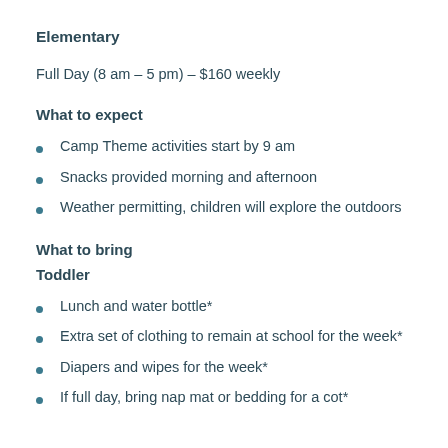Elementary
Full Day (8 am – 5 pm) – $160 weekly
What to expect
Camp Theme activities start by 9 am
Snacks provided morning and afternoon
Weather permitting, children will explore the outdoors
What to bring
Toddler
Lunch and water bottle*
Extra set of clothing to remain at school for the week*
Diapers and wipes for the week*
If full day, bring nap mat or bedding for a cot*